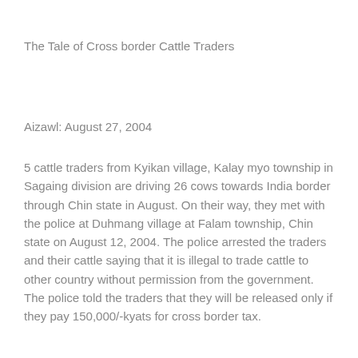The Tale of Cross border Cattle Traders
Aizawl: August 27, 2004
5 cattle traders from Kyikan village, Kalay myo township in Sagaing division are driving 26 cows towards India border through Chin state in August. On their way, they met with the police at Duhmang village at Falam township, Chin state on August 12, 2004. The police arrested the traders and their cattle saying that it is illegal to trade cattle to other country without permission from the government. The police told the traders that they will be released only if they pay 150,000/-kyats for cross border tax.